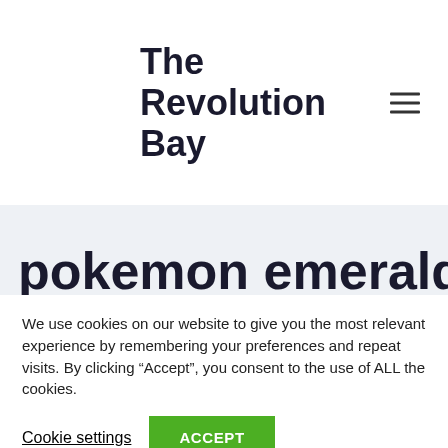The Revolution Bay
pokemon emerald cheats
We use cookies on our website to give you the most relevant experience by remembering your preferences and repeat visits. By clicking “Accept”, you consent to the use of ALL the cookies.
Cookie settings
ACCEPT